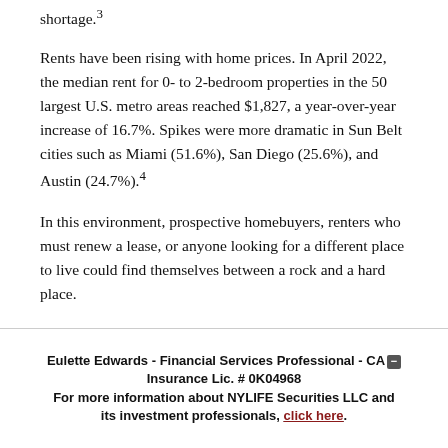shortage.³
Rents have been rising with home prices. In April 2022, the median rent for 0- to 2-bedroom properties in the 50 largest U.S. metro areas reached $1,827, a year-over-year increase of 16.7%. Spikes were more dramatic in Sun Belt cities such as Miami (51.6%), San Diego (25.6%), and Austin (24.7%).⁴
In this environment, prospective homebuyers, renters who must renew a lease, or anyone looking for a different place to live could find themselves between a rock and a hard place.
Eulette Edwards - Financial Services Professional - CA Insurance Lic. # 0K04968
For more information about NYLIFE Securities LLC and its investment professionals, click here.